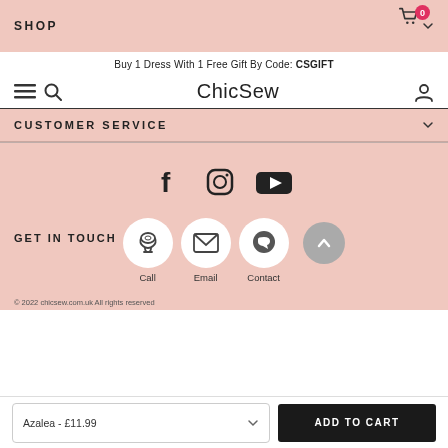SHOP
Buy 1 Dress With 1 Free Gift By Code: CSGIFT
ChicSew
CUSTOMER SERVICE
[Figure (other): Social media icons: Facebook, Instagram, YouTube]
GET IN TOUCH
[Figure (other): Contact icons: Call, Email, Contact (Messenger)]
© 2022 chicsew.com.uk All rights reserved
Azalea - £11.99
ADD TO CART